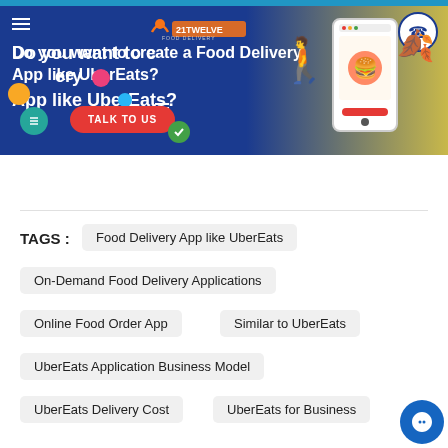[Figure (screenshot): Promotional banner for DigitTwelve Food Delivery. Blue and yellow gradient background. Text: 'Do you want to create a Food Delivery App like UberEats?' with a red 'TALK TO US' button. Illustration of a person holding a phone with a burger app displayed.]
Food Delivery App like UberEats
On-Demand Food Delivery Applications
Online Food Order App
Similar to UberEats
UberEats Application Business Model
UberEats Delivery Cost
UberEats for Business